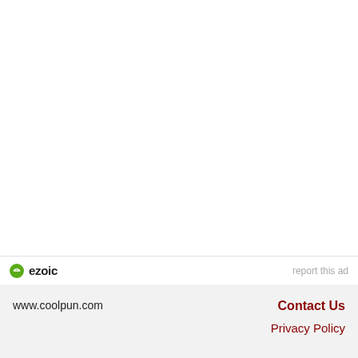[Figure (logo): Ezoic logo with green circular icon and bold 'ezoic' text]
report this ad
www.coolpun.com
Contact Us
Privacy Policy